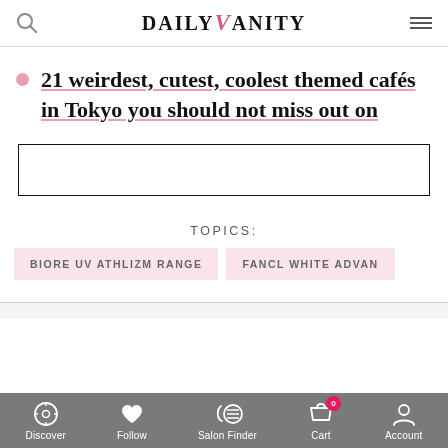DAILYVANITY
21 weirdest, cutest, coolest themed cafés in Tokyo you should not miss out on
[Figure (other): Empty bordered advertisement box]
TOPICS:
BIORE UV ATHLIZM RANGE
FANCL WHITE ADVAN
Discover  Follow  Salon Finder  Cart 0  Account